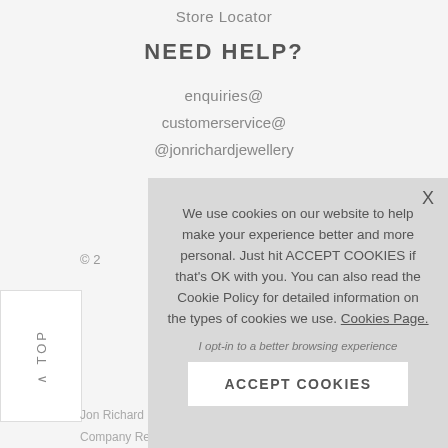Store Locator
NEED HELP?
enquiries@
customerservice@
@jonrichardjewellery
Office Hours:
© 2
TOP
Jon Richard Regist
Company Regi
We use cookies on our website to help make your experience better and more personal. Just hit ACCEPT COOKIES if that's OK with you. You can also read the Cookie Policy for detailed information on the types of cookies we use. Cookies Page.
I opt-in to a better browsing experience
ACCEPT COOKIES